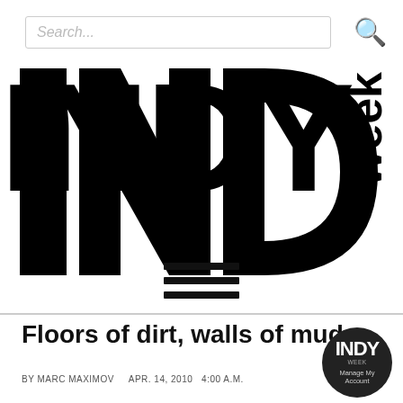[Figure (logo): INDY week logo — large bold black letters INDY with 'week' rotated vertically on the right side]
[Figure (other): Hamburger menu icon — three horizontal black bars]
Floors of dirt, walls of mud
BY MARC MAXIMOV    APR. 14, 2010  4:00 A.M.
[Figure (logo): INDY week small circular badge with text Manage My Account]